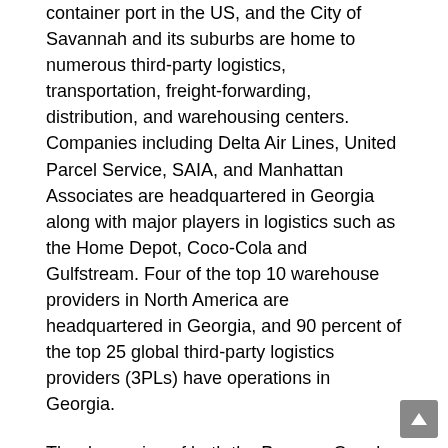container port in the US, and the City of Savannah and its suburbs are home to numerous third-party logistics, transportation, freight-forwarding, distribution, and warehousing centers. Companies including Delta Air Lines, United Parcel Service, SAIA, and Manhattan Associates are headquartered in Georgia along with major players in logistics such as the Home Depot, Coco-Cola and Gulfstream. Four of the top 10 warehouse providers in North America are headquartered in Georgia, and 90 percent of the top 25 global third-party logistics providers (3PLs) have operations in Georgia.
The deepening of both the Panama Canal and the Port of Savannah, and the planned construction of a new transoceanic canal through Nicaragua, will bring more and larger container ships into the Port of Savannah during the next few decades, resulting in increased business for Savannah and the entire US east coast. The transportation, logistics, and warehouse business sectors will be directly influenced by this increase, creating new jobs in these sectors in and around Savannah and coastal